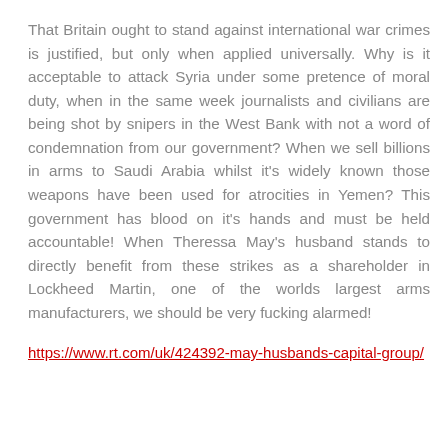That Britain ought to stand against international war crimes is justified, but only when applied universally. Why is it acceptable to attack Syria under some pretence of moral duty, when in the same week journalists and civilians are being shot by snipers in the West Bank with not a word of condemnation from our government? When we sell billions in arms to Saudi Arabia whilst it's widely known those weapons have been used for atrocities in Yemen? This government has blood on it's hands and must be held accountable! When Theressa May's husband stands to directly benefit from these strikes as a shareholder in Lockheed Martin, one of the worlds largest arms manufacturers, we should be very fucking alarmed!
https://www.rt.com/uk/424392-may-husbands-capital-group/